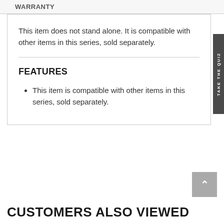WARRANTY
This item does not stand alone. It is compatible with other items in this series, sold separately.
FEATURES
This item is compatible with other items in this series, sold separately.
CUSTOMERS ALSO VIEWED